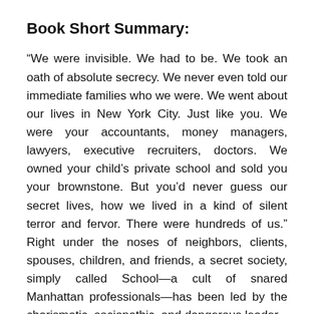Book Short Summary:
“We were invisible. We had to be. We took an oath of absolute secrecy. We never even told our immediate families who we were. We went about our lives in New York City. Just like you. We were your accountants, money managers, lawyers, executive recruiters, doctors. We owned your child’s private school and sold you your brownstone. But you’d never guess our secret lives, how we lived in a kind of silent terror and fervor. There were hundreds of us.” Right under the noses of neighbors, clients, spouses, children, and friends, a secret society, simply called School—a cult of snared Manhattan professionals—has been led by the charismatic, sociopathic, and dangerous leader